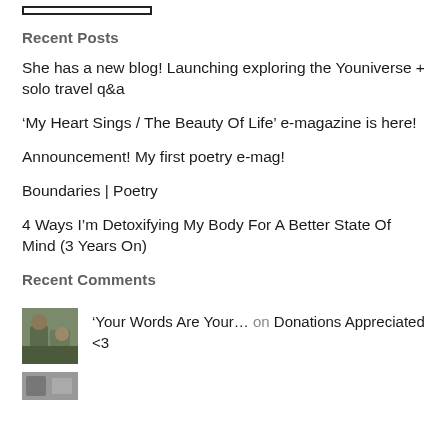Recent Posts
She has a new blog! Launching exploring the Youniverse + solo travel q&a
‘My Heart Sings / The Beauty Of Life’ e-magazine is here!
Announcement! My first poetry e-mag!
Boundaries | Poetry
4 Ways I’m Detoxifying My Body For A Better State Of Mind (3 Years On)
Recent Comments
‘Your Words Are Your… on Donations Appreciated <3